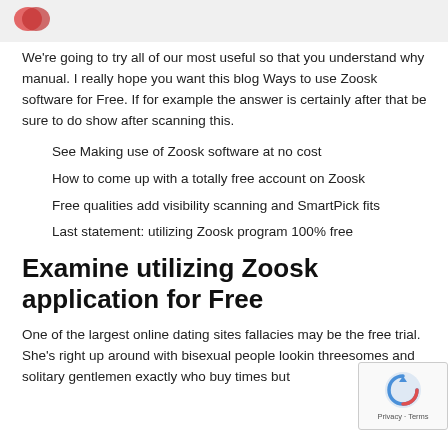[Figure (logo): Website header with reddish logo icon in top left corner on light gray background]
We're going to try all of our most useful so that you understand why manual. I really hope you want this blog Ways to use Zoosk software for Free. If for example the answer is certainly after that be sure to do show after scanning this.
See Making use of Zoosk software at no cost
How to come up with a totally free account on Zoosk
Free qualities add visibility scanning and SmartPick fits
Last statement: utilizing Zoosk program 100% free
Examine utilizing Zoosk application for Free
One of the largest online dating sites fallacies may be the free trial. She's right up around with bisexual people lookin threesomes and solitary gentlemen exactly who buy times but